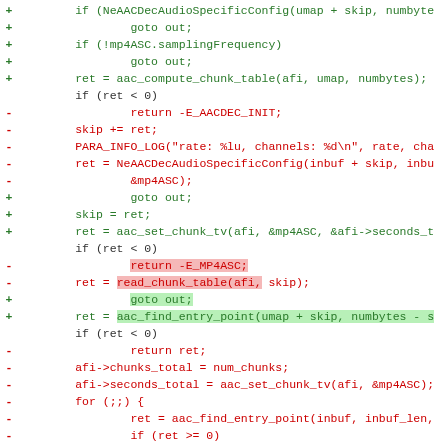[Figure (screenshot): Code diff view showing removed (red, minus) and added (green, plus) lines of C code. Several lines have inline highlights: 'return -E_MP4ASC;' highlighted in red, 'read_chunk_table(afi, skip)' highlighted in red, 'goto out;' highlighted in green, and 'aac_find_entry_point(umap + skip, numbytes - s' highlighted in green.]